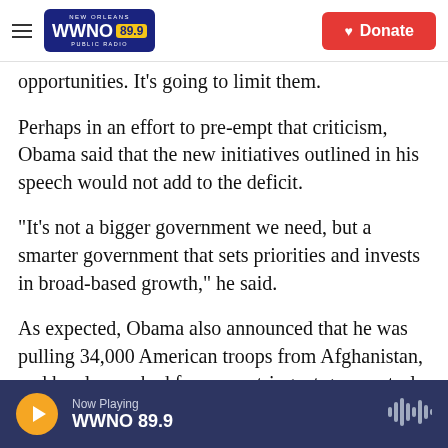NEW ORLEANS WWNO 89.9 PUBLIC RADIO | Donate
opportunities. It's going to limit them.
Perhaps in an effort to pre-empt that criticism, Obama said that the new initiatives outlined in his speech would not add to the deficit.
"It's not a bigger government we need, but a smarter government that sets priorities and invests in broad-based growth," he said.
As expected, Obama also announced that he was pulling 34,000 American troops from Afghanistan, and he also pushed for more stringent gun control laws.
Now Playing WWNO 89.9